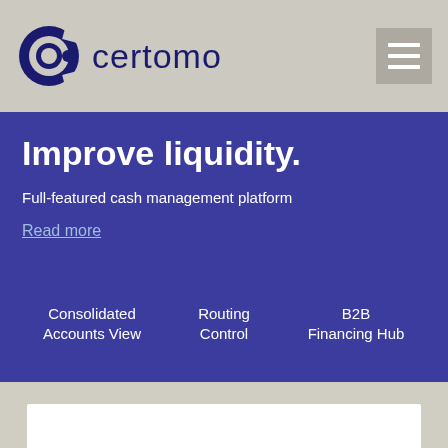[Figure (logo): Certomo logo with circular 'c' icon in dark navy blue and company name 'certomo' in dark navy blue text]
Improve liquidity.
Full-featured cash management platform
Read more
Consolidated Accounts View
Routing Control
B2B Financing Hub